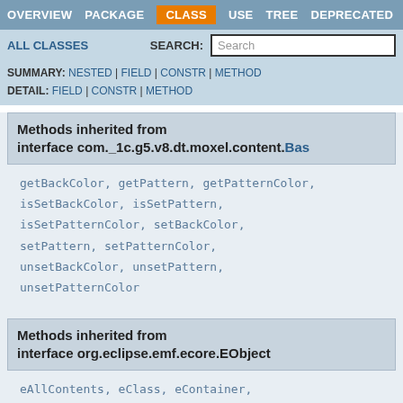OVERVIEW  PACKAGE  CLASS  USE  TREE  DEPRECATED
ALL CLASSES    SEARCH: Search
SUMMARY: NESTED | FIELD | CONSTR | METHOD
DETAIL: FIELD | CONSTR | METHOD
Methods inherited from interface com._1c.g5.v8.dt.moxel.content.Bas
getBackColor, getPattern, getPatternColor, isSetBackColor, isSetPattern, isSetPatternColor, setBackColor, setPattern, setPatternColor, unsetBackColor, unsetPattern, unsetPatternColor
Methods inherited from interface org.eclipse.emf.ecore.EObject
eAllContents, eClass, eContainer, eContainingFeature, eContainmentFeature, eContents, eCrossReferences, eGet, eGet,